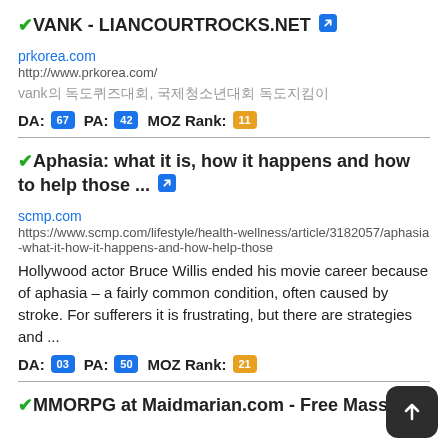VANK - LIANCOURTROCKS.NET
prkorea.com
http://www.prkorea.com/
vank의 독도퀴즈대회, 국제청소년대회 독도지킴이
DA: 67 PA: 42 MOZ Rank: 11
Aphasia: what it is, how it happens and how to help those ...
scmp.com
https://www.scmp.com/lifestyle/health-wellness/article/3182057/aphasia-what-it-how-it-happens-and-how-help-those
Hollywood actor Bruce Willis ended his movie career because of aphasia – a fairly common condition, often caused by stroke. For sufferers it is frustrating, but there are strategies and ...
DA: 03 PA: 50 MOZ Rank: 21
MMORPG at Maidmarian.com - Free Massive